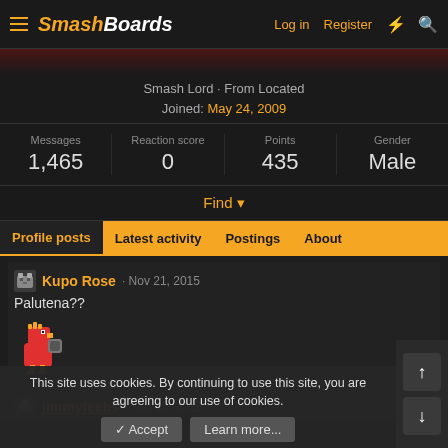SmashBoards | Log in | Register
Smash Lord · From Located
Joined: May 24, 2009
| Messages | Reaction score | Points | Gender |
| --- | --- | --- | --- |
| 1,465 | 0 | 435 | Male |
Find ▼
Profile posts | Latest activity | Postings | About
Kupo Rose · Nov 21, 2015
Palutena??
[Figure (illustration): Pixel art sprite of a red bird/chicken character with accessories]
jimmyfeebs · Mar 10, 2015
This site uses cookies. By continuing to use this site, you are agreeing to our use of cookies.
✓ Accept | Learn more...